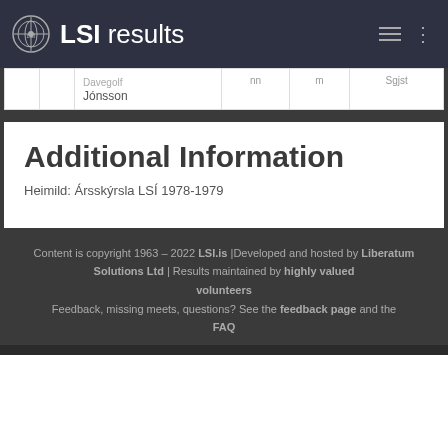LSI results
| Davegolf Jónsson |  |  |  |
Additional Information
Heimild: Ársskýrsla LSÍ 1978-1979
Content is copyright 1963 - 2022 LSI.is | Developed and hosted by Liberatum Solutions Ltd | Results maintained by highly valued volunteers Feedback, missing meets, questions? See the feedback page and the FAQ